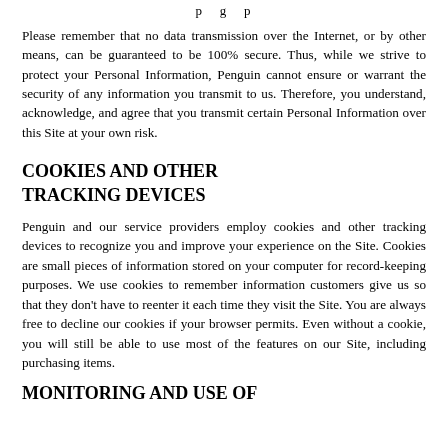p g p
Please remember that no data transmission over the Internet, or by other means, can be guaranteed to be 100% secure. Thus, while we strive to protect your Personal Information, Penguin cannot ensure or warrant the security of any information you transmit to us. Therefore, you understand, acknowledge, and agree that you transmit certain Personal Information over this Site at your own risk.
COOKIES AND OTHER TRACKING DEVICES
Penguin and our service providers employ cookies and other tracking devices to recognize you and improve your experience on the Site. Cookies are small pieces of information stored on your computer for record-keeping purposes. We use cookies to remember information customers give us so that they don't have to reenter it each time they visit the Site. You are always free to decline our cookies if your browser permits. Even without a cookie, you will still be able to use most of the features on our Site, including purchasing items.
MONITORING AND USE OF